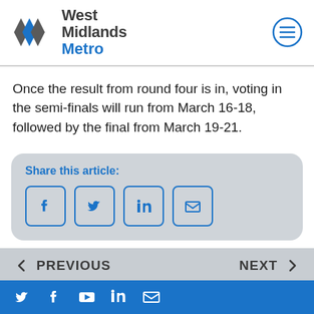West Midlands Metro
Once the result from round four is in, voting in the semi-finals will run from March 16-18, followed by the final from March 19-21.
[Figure (other): Share this article box with social media icons: Facebook, Twitter, LinkedIn, Email]
PREVIOUS | NEXT navigation bar with social media icons